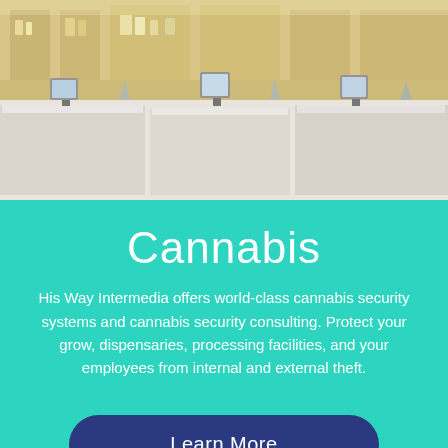[Figure (photo): Interior of a cannabis dispensary showing a bright retail counter with display cases, POS terminals/tablets on stands, shelving with products in the background, and modern clean design with warm lighting.]
Cannabis
His Way Intermedia offers world-class cannabis security systems and cannabis security consulting. Protect your grow, dispensaries, processing facilities, and your employees from internal and external theft.
Learn More